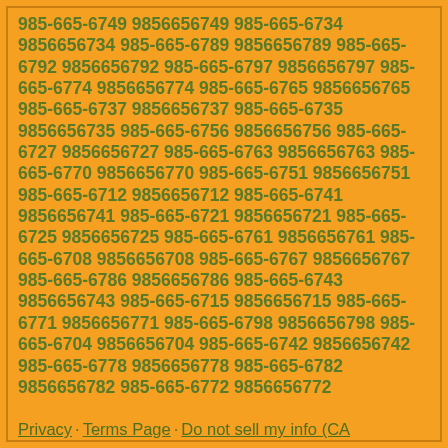985-665-6749 9856656749 985-665-6734 9856656734 985-665-6789 9856656789 985-665-6792 9856656792 985-665-6797 9856656797 985-665-6774 9856656774 985-665-6765 9856656765 985-665-6737 9856656737 985-665-6735 9856656735 985-665-6756 9856656756 985-665-6727 9856656727 985-665-6763 9856656763 985-665-6770 9856656770 985-665-6751 9856656751 985-665-6712 9856656712 985-665-6741 9856656741 985-665-6721 9856656721 985-665-6725 9856656725 985-665-6761 9856656761 985-665-6708 9856656708 985-665-6767 9856656767 985-665-6786 9856656786 985-665-6743 9856656743 985-665-6715 9856656715 985-665-6771 9856656771 985-665-6798 9856656798 985-665-6704 9856656704 985-665-6742 9856656742 985-665-6778 9856656778 985-665-6782 9856656782 985-665-6772 9856656772
Privacy | Terms Page | Do not sell my info (CA residents) | Message Us